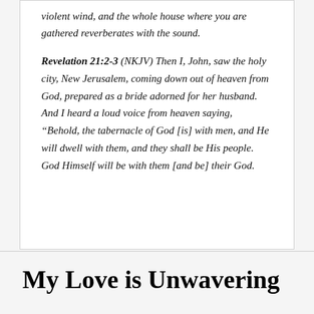violent wind, and the whole house where you are gathered reverberates with the sound.
Revelation 21:2-3 (NKJV) Then I, John, saw the holy city, New Jerusalem, coming down out of heaven from God, prepared as a bride adorned for her husband. And I heard a loud voice from heaven saying, “Behold, the tabernacle of God [is] with men, and He will dwell with them, and they shall be His people. God Himself will be with them [and be] their God.
My Love is Unwavering